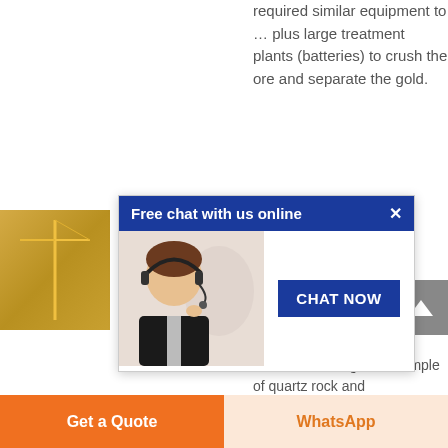required similar equipment to … plus large treatment plants (batteries) to crush the ore and separate the gold.
More details
price
[Figure (photo): Photo of mining/industrial equipment with yellow crane structure]
[Figure (screenshot): Chat popup overlay: 'Free chat with us online' with agent photo and CHAT NOW button]
or - Assaying and Smelting
If someone brings in a sample of quartz rock and
Get a Quote
WhatsApp